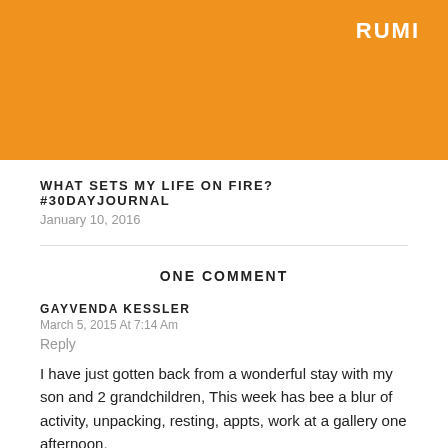[Figure (other): Orange banner with RUMI text in white top-right]
WHAT SETS MY LIFE ON FIRE? #30DAYJOURNAL
January 10, 2016
ONE COMMENT
GAYVENDA KESSLER
March 5, 2015 At 7:14 Am
Reply
I have just gotten back from a wonderful stay with my son and 2 grandchildren, This week has bee a blur of activity, unpacking, resting, appts, work at a gallery one afternoon,